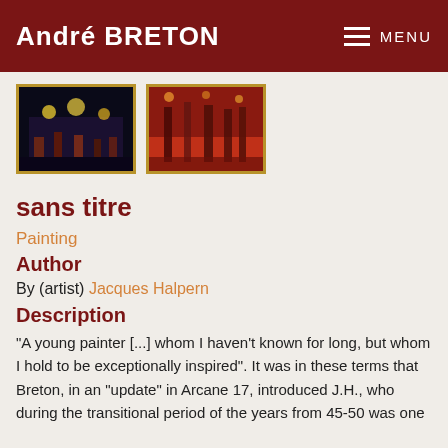André BRETON
[Figure (photo): Two thumbnail images of paintings: first is a dark-toned painting with figures and lights, second is a red-toned painting with figures]
sans titre
Painting
Author
By (artist) Jacques Halpern
Description
"A young painter [...] whom I haven't known for long, but whom I hold to be exceptionally inspired". It was in these terms that Breton, in an "update" in Arcane 17, introduced J.H., who during the transitional period of the years from 45-50 was one